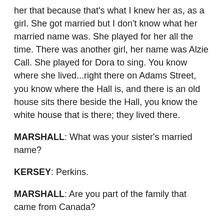her that because that's what I knew her as, as a girl. She got married but I don't know what her married name was. She played for her all the time. There was another girl, her name was Alzie Call. She played for Dora to sing. You know where she lived...right there on Adams Street, you know where the Hall is, and there is an old house sits there beside the Hall, you know the white house that is there; they lived there.
MARSHALL: What was your sister's married name?
KERSEY: Perkins.
MARSHALL: Are you part of the family that came from Canada?
KERSEY: No. It's on father's side—it's on my husband's or the Kersey side. My mother was born